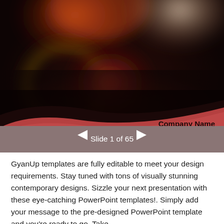[Figure (screenshot): PowerPoint presentation slide thumbnail with dark bokeh background featuring orange, red, and white blurred lights. A red-brown wave swoosh overlays the bottom portion. Text reads 'Company Name' and 'Presentation Name' in dark bold text on the red-brown area. Navigation bar below shows 'Slide 1 of 65' with left and right arrow buttons on a gray-brown background.]
GyanUp templates are fully editable to meet your design requirements. Stay tuned with tons of visually stunning contemporary designs. Sizzle your next presentation with these eye-catching PowerPoint templates!. Simply add your message to the pre-designed PowerPoint template and you're ready to go. Take